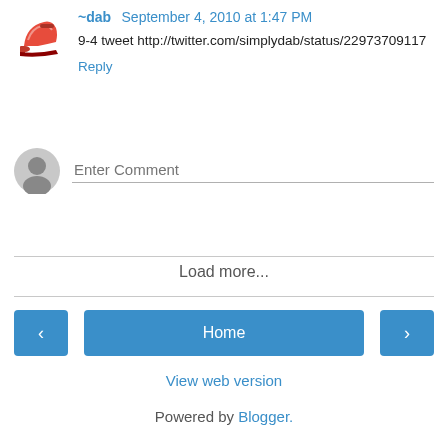~dab  September 4, 2010 at 1:47 PM
9-4 tweet http://twitter.com/simplydab/status/22973709117
Reply
Enter Comment
Load more...
Home
View web version
Powered by Blogger.